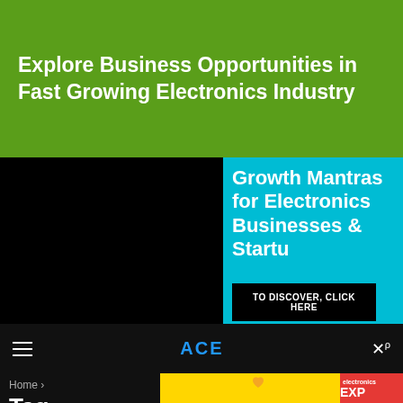Explore Business Opportunities in Fast Growing Electronics Industry
[Figure (infographic): Advertisement for electronics magazine: Growth Mantras for Electronics Businesses & Startups, with TO DISCOVER, CLICK HERE button, wave chart graphic, and Read electronics for you EXPRESS for FREE! text]
[Figure (screenshot): Navigation bar with hamburger menu, ACE logo in blue, and search/close icon on black background]
Home ›
Tag:
[Figure (infographic): Yellow advertisement banner with heart icon and Electronics Express magazine cover]